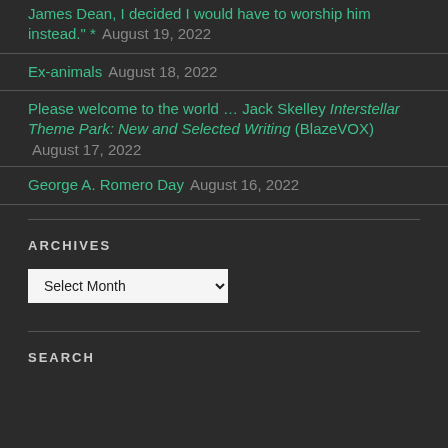James Dean, I decided I would have to worship him instead." *   August 19, 2022
Ex-animals   August 18, 2022
Please welcome to the world … Jack Skelley Interstellar Theme Park: New and Selected Writing (BlazeVOX)   August 17, 2022
George A. Romero Day   August 16, 2022
ARCHIVES
SEARCH